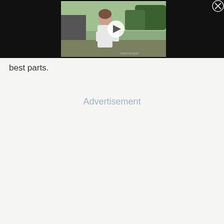[Figure (screenshot): Video player thumbnail showing a young girl in a white dress with a play button overlay, set against a black letterbox background. A close/X button appears in the top right corner. A watermark reading 'newscope' is visible in the bottom right of the video frame.]
best parts.
Advertisement